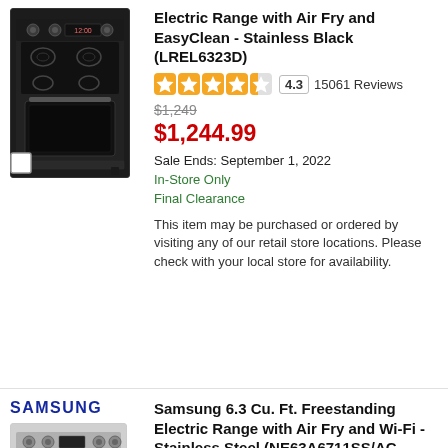[Figure (photo): LG black stainless steel electric range appliance product photo]
Electric Range with Air Fry and EasyClean - Stainless Black (LREL6323D)
4.3 15061 Reviews
$1,249 (strikethrough) $1,244.99
Sale Ends: September 1, 2022
In-Store Only
Final Clearance
This item may be purchased or ordered by visiting any of our retail store locations. Please check with your local store for availability.
[Figure (logo): Samsung brand logo in blue italic text]
[Figure (photo): Samsung stainless steel freestanding electric range product photo]
Samsung 6.3 Cu. Ft. Freestanding Electric Range with Air Fry and Wi-Fi - Stainless Steel (NE63A6711SS/AC-OPENBOX)
0.0 No Reviews